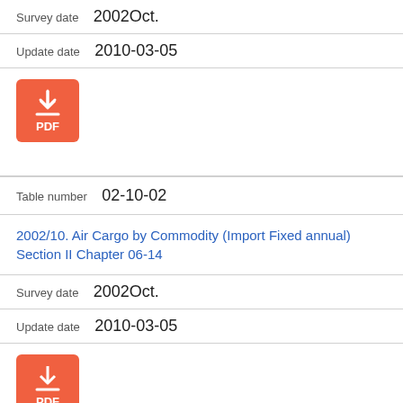Survey date  2002Oct.
Update date  2010-03-05
[Figure (other): PDF download button (orange rounded square with download arrow icon and PDF label)]
Table number  02-10-02
2002/10. Air Cargo by Commodity (Import Fixed annual) Section II Chapter 06-14
Survey date  2002Oct.
Update date  2010-03-05
[Figure (other): PDF download button (orange rounded square with download arrow icon and PDF label)]
Table number  02-10-03
2002/10. Air Cargo by Commodity (Import Fixed annual)